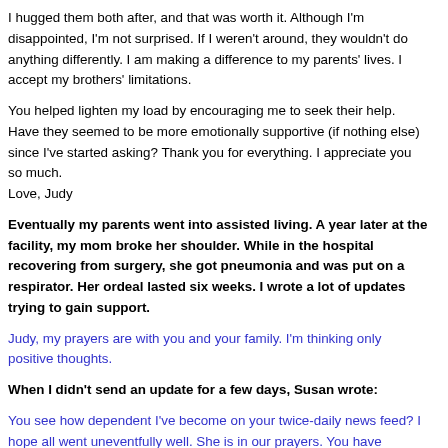I hugged them both after, and that was worth it. Although I'm disappointed, I'm not surprised. If I weren't around, they wouldn't do anything differently. I am making a difference to my parents' lives. I accept my brothers' limitations.
You helped lighten my load by encouraging me to seek their help. Have they seemed to be more emotionally supportive (if nothing else) since I've started asking? Thank you for everything. I appreciate you so much.
Love, Judy
Eventually my parents went into assisted living. A year later at the facility, my mom broke her shoulder. While in the hospital recovering from surgery, she got pneumonia and was put on a respirator. Her ordeal lasted six weeks. I wrote a lot of updates trying to gain support.
Judy, my prayers are with you and your family. I'm thinking only positive thoughts.
When I didn't send an update for a few days, Susan wrote:
You see how dependent I've become on your twice-daily news feed? I hope all went uneventfully well. She is in our prayers. You have created an amazing support group by just hearing the stories from your friends in the forwarded emails.
Hope tonight is another peaceful one for you and your mom. All the loving thoughts from my mom to your parents. Love, Susan